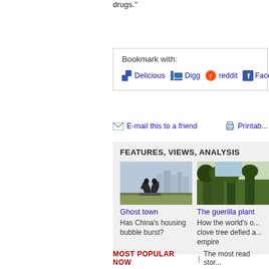drugs."
Bookmark with: Delicious  Digg  reddit  Faceb...
E-mail this to a friend    Printab...
FEATURES, VIEWS, ANALYSIS
[Figure (photo): Photo of two horse statues rearing up, with city skyline in background — Ghost town article]
Ghost town
Has China's housing bubble burst?
[Figure (photo): Photo of trees — The guerilla plant article]
The guerilla plant
How the world's o... clove tree defied a... empire
MOST POPULAR NOW | The most read stor...